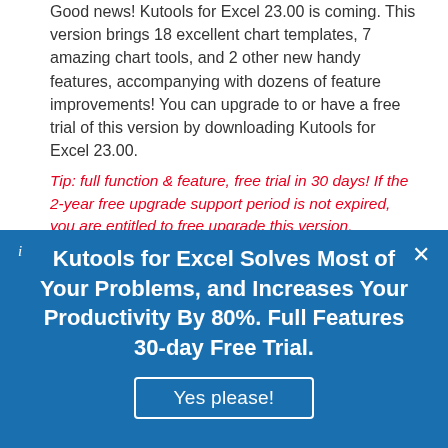Good news! Kutools for Excel 23.00 is coming. This version brings 18 excellent chart templates, 7 amazing chart tools, and 2 other new handy features, accompanying with dozens of feature improvements! You can upgrade to or have a free trial of this version by downloading Kutools for Excel 23.00.
Tip: full function & feature, free trial in 30 days! If the 2-year free upgrade support period is not expired, you are entitled to free upgrade this version.
Kutools for Excel Solves Most of Your Problems, and Increases Your Productivity By 80%. Full Features 30-day Free Trial.
Yes please!